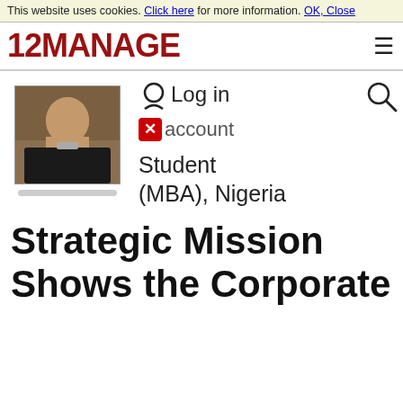This website uses cookies. Click here for more information. OK, Close
[Figure (logo): 12MANAGE logo in dark red bold text with hamburger menu icon]
[Figure (photo): Profile photo of a man in a suit, Nigerian student (MBA)]
Login / account
Student (MBA), Nigeria
Strategic Mission Shows the Corporate